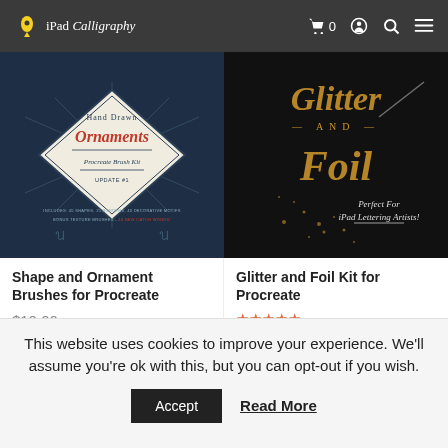iPad Calligraphy
[Figure (screenshot): Product image for Shape and Ornament Brushes for Procreate — dark navy background with diamond badge design reading 'Hand Drawn Ornaments Procreate Brush Kit']
Shape and Ornament Brushes for Procreate
$19.00
ADD TO CART
[Figure (screenshot): Product image for Glitter and Foil Kit for Procreate — dark background with gold glitter script lettering reading 'Glitter and Foil — Perfect For iPad Lettering Artists!']
Glitter and Foil Kit for Procreate
★★★★★
$16.00
ADD TO CART
This website uses cookies to improve your experience. We'll assume you're ok with this, but you can opt-out if you wish.
Accept
Read More